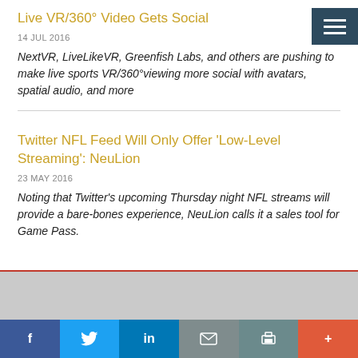Live VR/360° Video Gets Social
14 JUL 2016
NextVR, LiveLikeVR, Greenfish Labs, and others are pushing to make live sports VR/360°viewing more social with avatars, spatial audio, and more
Twitter NFL Feed Will Only Offer 'Low-Level Streaming': NeuLion
23 MAY 2016
Noting that Twitter's upcoming Thursday night NFL streams will provide a bare-bones experience, NeuLion calls it a sales tool for Game Pass.
f  Twitter  in  mail  print  +